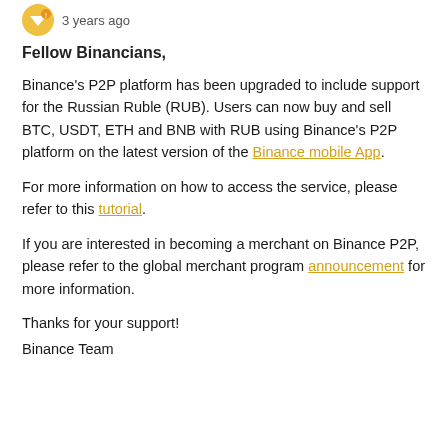3 years ago
Fellow Binancians,
Binance's P2P platform has been upgraded to include support for the Russian Ruble (RUB). Users can now buy and sell BTC, USDT, ETH and BNB with RUB using Binance's P2P platform on the latest version of the Binance mobile App.
For more information on how to access the service, please refer to this tutorial.
If you are interested in becoming a merchant on Binance P2P, please refer to the global merchant program announcement for more information.
Thanks for your support!
Binance Team